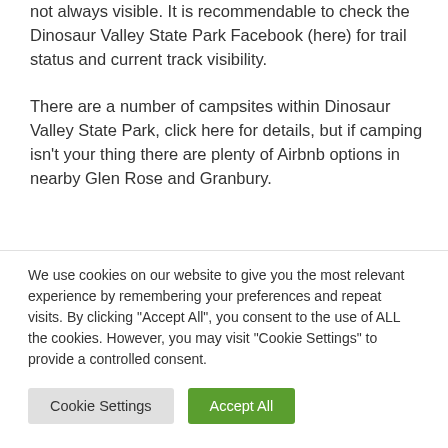not always visible. It is recommendable to check the Dinosaur Valley State Park Facebook (here) for trail status and current track visibility.
There are a number of campsites within Dinosaur Valley State Park, click here for details, but if camping isn't your thing there are plenty of Airbnb options in nearby Glen Rose and Granbury.
We use cookies on our website to give you the most relevant experience by remembering your preferences and repeat visits. By clicking "Accept All", you consent to the use of ALL the cookies. However, you may visit "Cookie Settings" to provide a controlled consent.